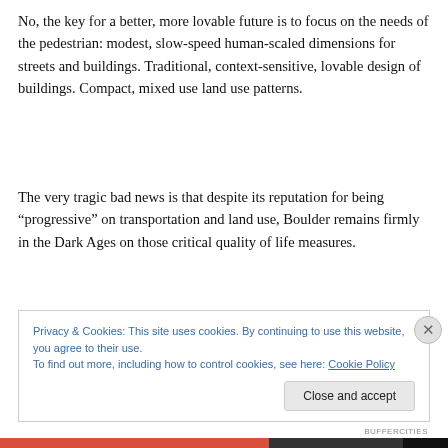No, the key for a better, more lovable future is to focus on the needs of the pedestrian: modest, slow-speed human-scaled dimensions for streets and buildings. Traditional, context-sensitive, lovable design of buildings. Compact, mixed use land use patterns.
The very tragic bad news is that despite its reputation for being “progressive” on transportation and land use, Boulder remains firmly in the Dark Ages on those critical quality of life measures.
Privacy & Cookies: This site uses cookies. By continuing to use this website, you agree to their use.
To find out more, including how to control cookies, see here: Cookie Policy